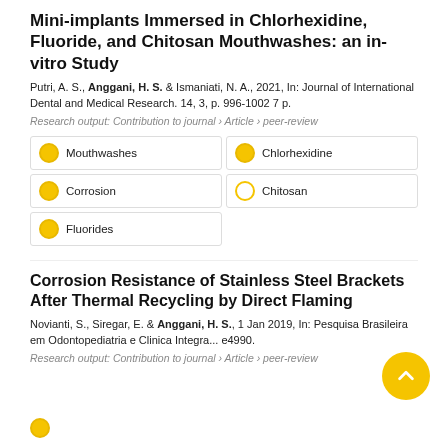Mini-implants Immersed in Chlorhexidine, Fluoride, and Chitosan Mouthwashes: an in-vitro Study
Putri, A. S., Anggani, H. S. & Ismaniati, N. A., 2021, In: Journal of International Dental and Medical Research. 14, 3, p. 996-1002 7 p.
Research output: Contribution to journal › Article › peer-review
Mouthwashes
Chlorhexidine
Corrosion
Chitosan
Fluorides
Corrosion Resistance of Stainless Steel Brackets After Thermal Recycling by Direct Flaming
Novianti, S., Siregar, E. & Anggani, H. S., 1 Jan 2019, In: Pesquisa Brasileira em Odontopediatria e Clinica Integra... e4990.
Research output: Contribution to journal › Article › peer-review